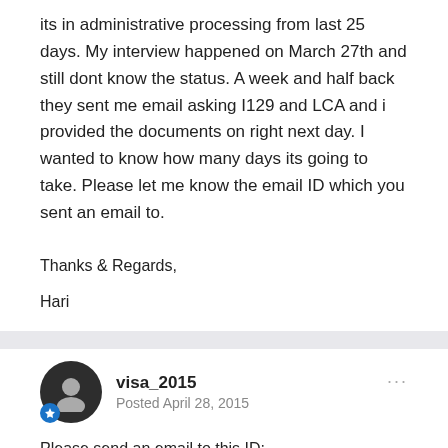its in administrative processing from last 25 days. My interview happened on March 27th and still dont know the status. A week and half back they sent me email asking I129 and LCA and i provided the documents on right next day. I wanted to know how many days its going to take. Please let me know the email ID which you sent an email to.
Thanks & Regards,
Hari
visa_2015
Posted April 28, 2015
Please send an email to this ID: VancouverAP@state.gov they will respond usually in 2days. I am sure you must receive your passport soon. Good luck!